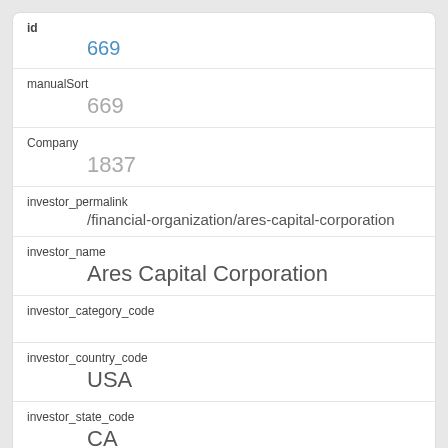| Field | Value |
| --- | --- |
| id | 669 |
| manualSort | 669 |
| Company | 1837 |
| investor_permalink | /financial-organization/ares-capital-corporation |
| investor_name | Ares Capital Corporation |
| investor_category_code |  |
| investor_country_code | USA |
| investor_state_code | CA |
| investor_region | Los Angeles |
| investor_city | Los Angeles |